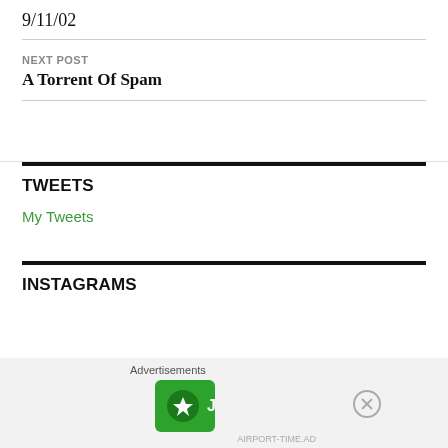9/11/02
NEXT POST
A Torrent Of Spam
TWEETS
My Tweets
INSTAGRAMS
[Figure (other): Jetpack advertisement banner with 'Secure Your Site' button]